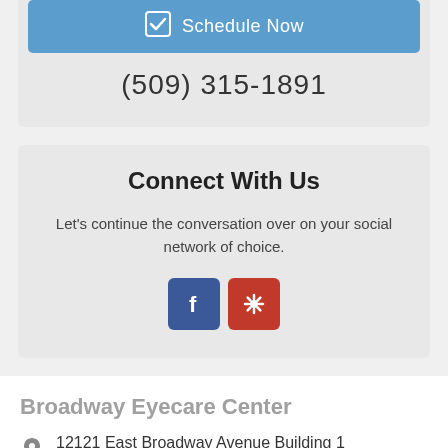[Figure (other): Blue 'Schedule Now' button with checkbox icon]
(509) 315-1891
Connect With Us
Let's continue the conversation over on your social network of choice.
[Figure (other): Facebook and Yelp social media icon buttons]
Broadway Eyecare Center
12121 East Broadway Avenue Building 1